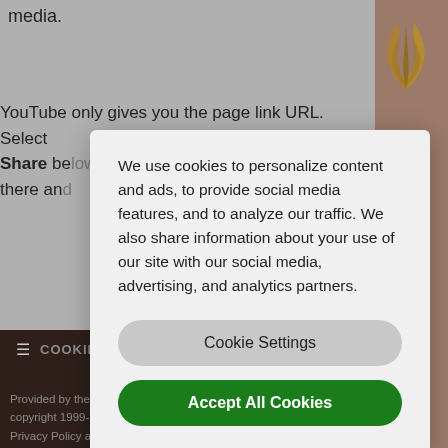media.
YouTube only gives you the page link URL. Select Share below the video, then copy the link from there and
[Figure (logo): Seventh-day Adventist Church logo, stylized golden wheat/flame symbol on taupe background]
We use cookies to personalize content and ads, to provide social media features, and to analyze our traffic. We also share information about your use of our site with our social media, advertising, and analytics partners.
Cookie Settings
Accept All Cookies
☰  COOKIE SETTINGS
Provided by the Seventh-day Adventist Church and netAdventist © copyright 1999-2022 / All Rights Reserved / Terms of Use / Children's Privacy Policy and Legal Notice
Log in